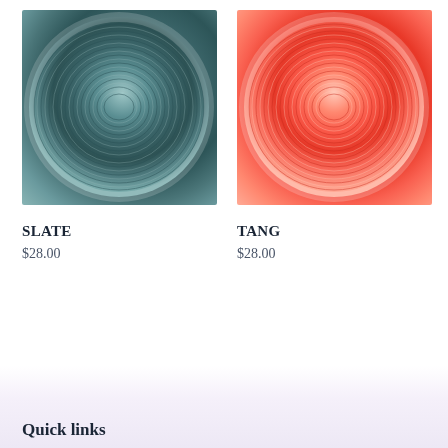[Figure (photo): Skein of teal/slate colored yarn wound in a circular bundle, photographed from above on white background]
[Figure (photo): Skein of coral/tang (orange-red) colored yarn wound in a circular bundle, photographed from above on white background]
SLATE
$28.00
TANG
$28.00
Quick links